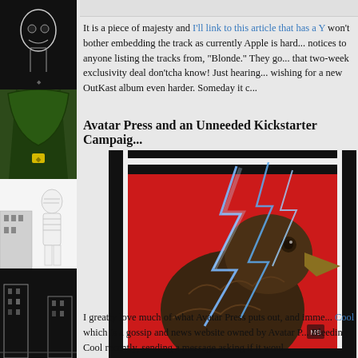[Figure (illustration): Sidebar with four comic book panels showing various characters including skulls, Doctor Doom-like figure in green, a mummy/wrapped figure in white suit, and black-and-white building scene]
It is a piece of majesty and I'll link to this article that has a Y... won't bother embedding the track as currently Apple is hard... notices to anyone listing the tracks from, "Blonde." They go... that two-week exclusivity deal don'tcha know! Just hearing... wishing for a new OutKast album even harder. Someday it c...
Avatar Press and an Unneeded Kickstarter Campaig...
[Figure (illustration): Comic book cover art showing a large eagle head with lightning bolts against a red and black flag-like background, with text KIERON GILLEN and DANIEL GETE at the bottom]
I greatly love much of what Avatar Press puts out, and imme... Cool which is a gossip and news website owned by Avatar P... Bleeding Cool recently, sending a message asking if it woul...